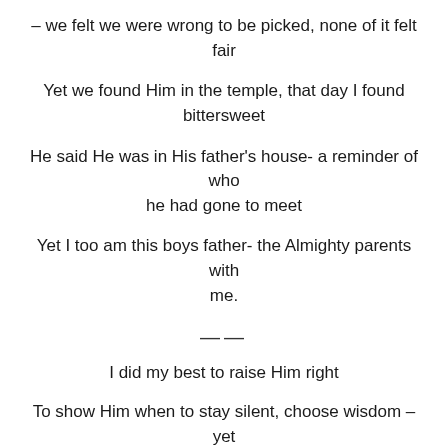– we felt we were wrong to be picked, none of it felt fair
Yet we found Him in the temple, that day I found bittersweet
He said He was in His father's house- a reminder of who he had gone to meet
Yet I too am this boys father- the Almighty parents with me.
——
I did my best to raise Him right
To show Him when to stay silent, choose wisdom – yet when to rise and fight!
To let Him know who He was, whose He was and all He